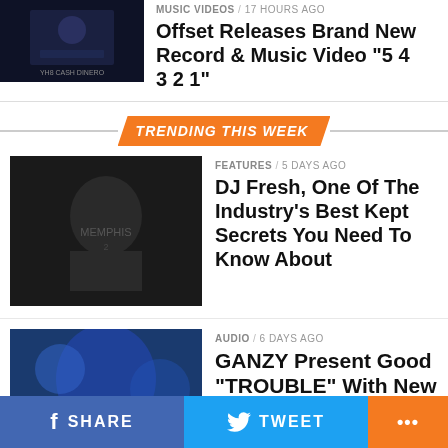[Figure (photo): Partially visible thumbnail with dark background and text 'YH8 CASH DINERO']
MUSIC VIDEOS / 17 hours ago
Offset Releases Brand New Record & Music Video “5 4 3 2 1”
TRENDING THIS WEEK
[Figure (photo): DJ Fresh photo - person in Memphis jersey with hand raised]
FEATURES / 5 days ago
DJ Fresh, One Of The Industry’s Best Kept Secrets You Need To Know About
[Figure (photo): GANZY photo - person in white shirt with blue artistic background]
AUDIO / 6 days ago
GANZY Present Good “TROUBLE” With New Single
[Figure (photo): Partially visible thumbnail with purple background]
AUDIO / 3 days ago
SHARE   TWEET   ...